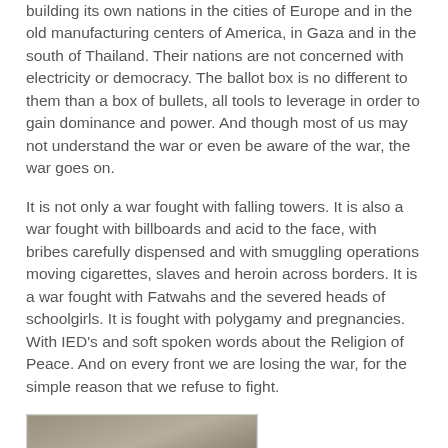building its own nations in the cities of Europe and in the old manufacturing centers of America, in Gaza and in the south of Thailand. Their nations are not concerned with electricity or democracy. The ballot box is no different to them than a box of bullets, all tools to leverage in order to gain dominance and power. And though most of us may not understand the war or even be aware of the war, the war goes on.
It is not only a war fought with falling towers. It is also a war fought with billboards and acid to the face, with bribes carefully dispensed and with smuggling operations moving cigarettes, slaves and heroin across borders. It is a war fought with Fatwahs and the severed heads of schoolgirls. It is fought with polygamy and pregnancies. With IED's and soft spoken words about the Religion of Peace. And on every front we are losing the war, for the simple reason that we refuse to fight.
[Figure (photo): A photograph showing an outdoor scene with muted, earthy tones, partially visible at the bottom of the page.]